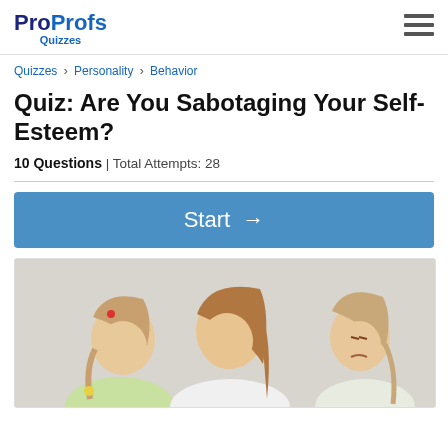ProProfs Quizzes [logo] [hamburger menu]
Quizzes › Personality › Behavior
Quiz: Are You Sabotaging Your Self-Esteem?
10 Questions | Total Attempts: 28
Start →
[Figure (photo): A woman and two young girls with braided hair, one girl looking down with a pout, suggesting a behavior or self-esteem related scenario.]